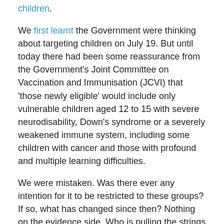children.
We first learnt the Government were thinking about targeting children on July 19. But until today there had been some reassurance from the Government's Joint Committee on Vaccination and Immunisation (JCVI) that 'those newly eligible' would include only vulnerable children aged 12 to 15 with severe neurodisability, Down's syndrome or a severely weakened immune system, including some children with cancer and those with profound and multiple learning difficulties.
We were mistaken. Was there ever any intention for it to be restricted to these groups? If so, what has changed since then? Nothing on the evidence side. Who is pulling the strings here? Why is the government bent on such a reckless policy?